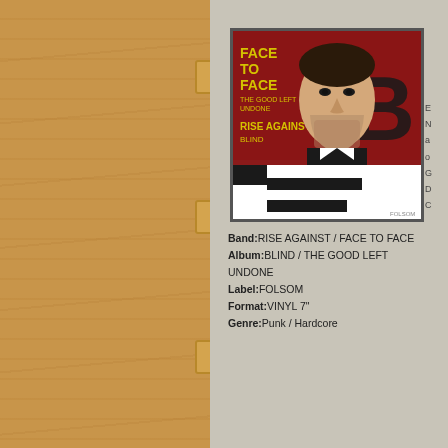[Figure (illustration): Album cover for RISE AGAINST / FACE TO FACE split. Shows a drawn portrait of a man's face in black and white with a red background, yellow text reading FACE TO FACE THE GOOD LEFT UNDONE and RISE AGAINST BLIND, with black and white horizontal stripes at the bottom.]
Band:RISE AGAINST / FACE TO FACE
Album:BLIND / THE GOOD LEFT UNDONE
Label:FOLSOM
Format:VINYL 7"
Genre:Punk / Hardcore